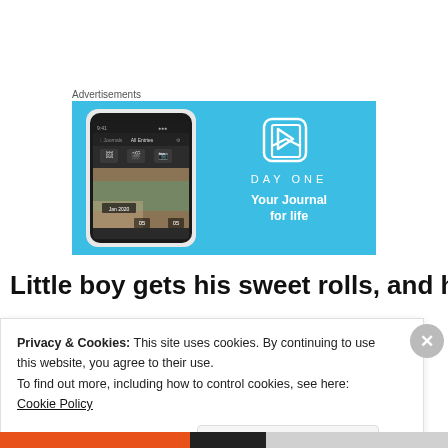Advertisements
[Figure (illustration): DayOne app advertisement banner on light blue background, showing a smartphone with the DayOne journal app UI on the left, and the DayOne logo with tagline 'Your Journal for life' on the right.]
Little boy gets his sweet rolls, and he grins on
Privacy & Cookies: This site uses cookies. By continuing to use this website, you agree to their use.
To find out more, including how to control cookies, see here: Cookie Policy
Close and accept